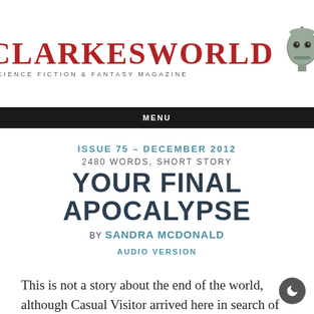CLARKESWORLD SCIENCE FICTION & FANTASY MAGAZINE
MENU
ISSUE 75 – DECEMBER 2012
2480 WORDS, SHORT STORY
YOUR FINAL APOCALYPSE
BY SANDRA MCDONALD
AUDIO VERSION
This is not a story about the end of the world, although Casual Visitor arrived here in search of such a tale approximately .03 seconds ago. (It, not him or her or they. There is no gender in this corner of the future. There is nothing physical about